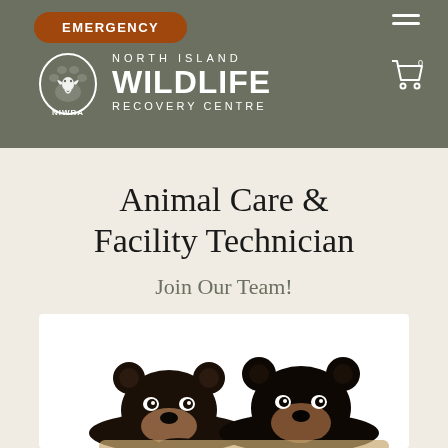EMERGENCY | North Island Wildlife Recovery Centre | NIWRA
Animal Care & Facility Technician
Join Our Team!
[Figure (photo): Two black bear cubs lying side by side on a white background, looking at the camera]